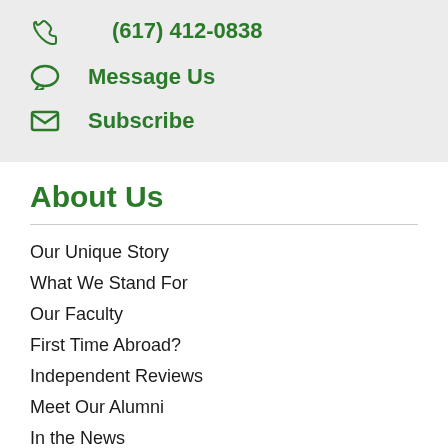(617) 412-0838
Message Us
Subscribe
About Us
Our Unique Story
What We Stand For
Our Faculty
First Time Abroad?
Independent Reviews
Meet Our Alumni
In the News
More...